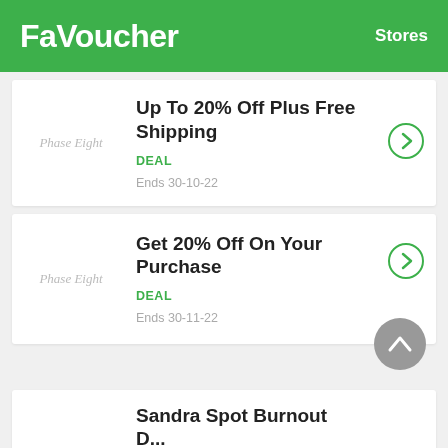FaVoucher   Stores
Up To 20% Off Plus Free Shipping
DEAL
Ends 30-10-22
Get 20% Off On Your Purchase
DEAL
Ends 30-11-22
Sandra Spot Burnout D...